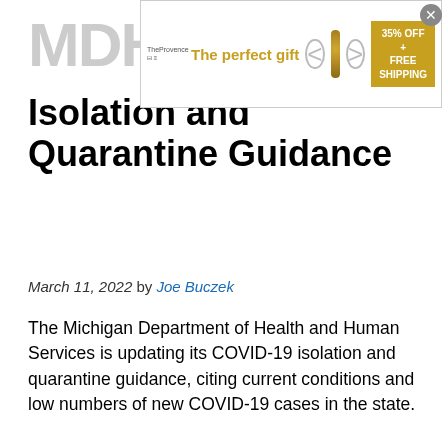[Figure (other): Advertisement banner: 'The perfect gift' with food imagery, navigation arrows, and a '35% OFF + FREE SHIPPING' badge in gold/yellow]
MDHHS Updates Isolation and Quarantine Guidance
March 11, 2022 by Joe Buczek
The Michigan Department of Health and Human Services is updating its COVID-19 isolation and quarantine guidance, citing current conditions and low numbers of new COVID-19 cases in the state.
MDHHS says the update does not change guidance for health care, long-term care, corrections and other high-risk settings, and these entities should continue to follow existing guidance.